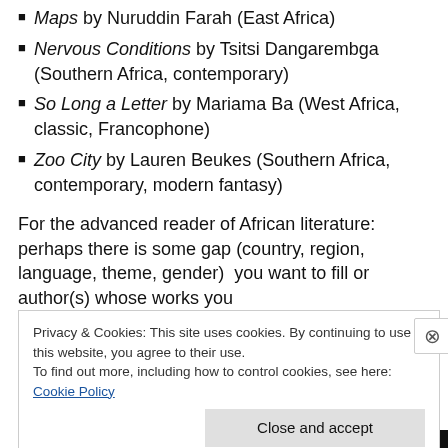Maps by Nuruddin Farah (East Africa)
Nervous Conditions by Tsitsi Dangarembga (Southern Africa, contemporary)
So Long a Letter by Mariama Ba (West Africa, classic, Francophone)
Zoo City by Lauren Beukes (Southern Africa, contemporary, modern fantasy)
For the advanced reader of African literature:  perhaps there is some gap (country, region, language, theme, gender)  you want to fill or author(s) whose works you
Privacy & Cookies: This site uses cookies. By continuing to use this website, you agree to their use.
To find out more, including how to control cookies, see here: Cookie Policy